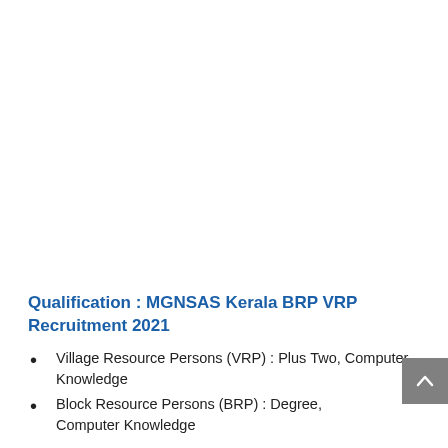Qualification : MGNSAS Kerala BRP VRP Recruitment 2021
Village Resource Persons (VRP) : Plus Two, Computer Knowledge
Block Resource Persons (BRP) : Degree, Computer Knowledge